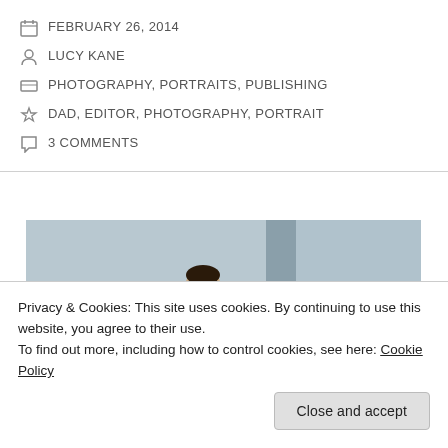FEBRUARY 26, 2014
LUCY KANE
PHOTOGRAPHY, PORTRAITS, PUBLISHING
DAD, EDITOR, PHOTOGRAPHY, PORTRAIT
3 COMMENTS
[Figure (photo): Man in blue suit wearing sunglasses, photographed against a grey/blue architectural background with geometric panels]
Privacy & Cookies: This site uses cookies. By continuing to use this website, you agree to their use.
To find out more, including how to control cookies, see here: Cookie Policy